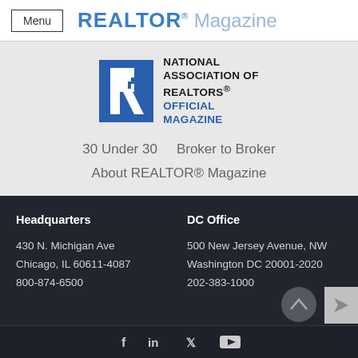Menu  REALTOR® Magazine
[Figure (logo): National Association of REALTORS® logo — blue square with white R letter, beside bold text 'NATIONAL ASSOCIATION OF REALTORS® OFFICIAL MAGAZINE']
30 Under 30
Broker to Broker
About REALTOR® Magazine
Headquarters
430 N. Michigan Ave
Chicago, IL 60611-4087
800-874-6500
DC Office
500 New Jersey Avenue, NW
Washington DC 20001-2020
202-383-1000
Social media icons: Facebook, LinkedIn, Twitter, YouTube